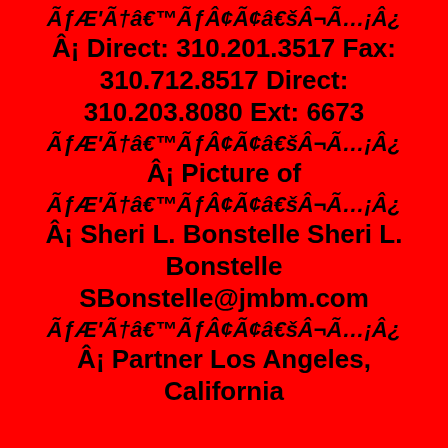ÃƒÆ'Ã†â€™ÃƒÂ¢Ã¢â€šÂ¬Ã…
Â¡ Direct: 310.201.3517 Fax: 310.712.8517 Direct: 310.203.8080 Ext: 6673
ÃƒÆ'Ã†â€™ÃƒÂ¢Ã¢â€šÂ¬Ã…
Â¡ Picture of
ÃƒÆ'Ã†â€™ÃƒÂ¢Ã¢â€šÂ¬Ã…
Â¡ Sheri L. Bonstelle Sheri L. Bonstelle
SBonstelle@jmbm.com
ÃƒÆ'Ã†â€™ÃƒÂ¢Ã¢â€šÂ¬Ã…
Â¡ Partner Los Angeles, California